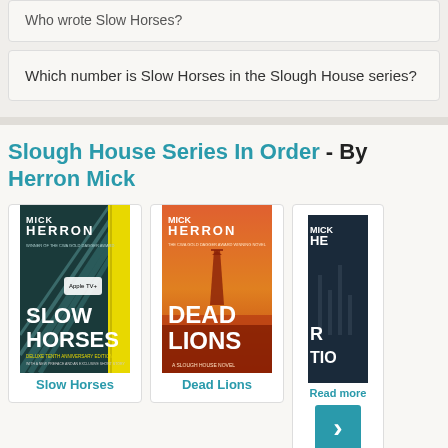Who wrote Slow Horses?
Which number is Slow Horses in the Slough House series?
Slough House Series In Order - By Herron Mick
[Figure (photo): Book cover of Slow Horses by Mick Herron, Deluxe Tenth Anniversary Edition, with Apple TV+ logo]
Slow Horses
[Figure (photo): Book cover of Dead Lions by Mick Herron, a Slough House novel]
Dead Lions
[Figure (photo): Partial book cover, third book in series, partially cut off]
Read more